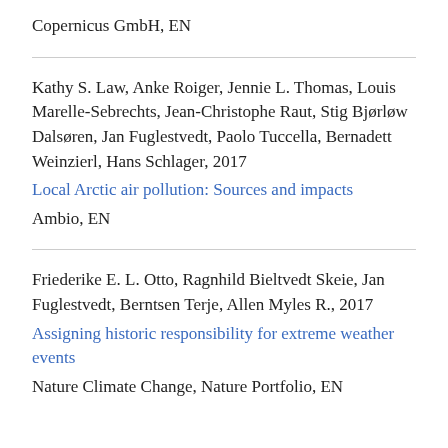Copernicus GmbH, EN
Kathy S. Law, Anke Roiger, Jennie L. Thomas, Louis Marelle-Sebrechts, Jean-Christophe Raut, Stig Bjørløw Dalsøren, Jan Fuglestvedt, Paolo Tuccella, Bernadett Weinzierl, Hans Schlager, 2017
Local Arctic air pollution: Sources and impacts
Ambio, EN
Friederike E. L. Otto, Ragnhild Bieltvedt Skeie, Jan Fuglestvedt, Berntsen Terje, Allen Myles R., 2017
Assigning historic responsibility for extreme weather events
Nature Climate Change, Nature Portfolio, EN